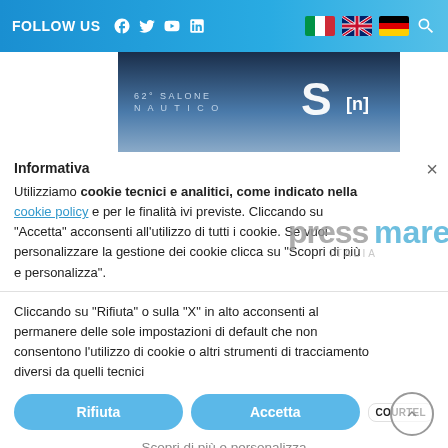FOLLOW US
[Figure (screenshot): 62° Salone Nautico advertisement banner with S[n] logo]
Informativa
Utilizziamo cookie tecnici e analitici, come indicato nella cookie policy e per le finalità ivi previste. Cliccando su "Accetta" acconsenti all'utilizzo di tutti i cookie. Se vuoi personalizzare la gestione dei cookie clicca su "Scopri di più e personalizza".
Cliccando su "Rifiuta" o sulla "X" in alto acconsenti al permanere delle sole impostazioni di default che non consentono l'utilizzo di cookie o altri strumenti di tracciamento diversi da quelli tecnici
Rifiuta
Accetta
Scopri di più e personalizza